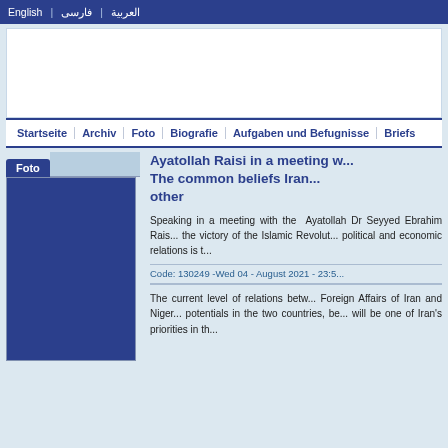English | فارسی | العربیة
[Figure (other): Website banner/logo area (white rectangle)]
Startseite | Archiv | Foto | Biografie | Aufgaben und Befugnisse | Briefs
[Figure (photo): Foto panel - dark blue rectangle representing a photo placeholder]
Ayatollah Raisi in a meeting w... The common beliefs Iran... other
Speaking in a meeting with the Ayatollah Dr Seyyed Ebrahim Rais... the victory of the Islamic Revolut... political and economic relations is t...
Code: 130249 -Wed 04 - August 2021 - 23:5...
The current level of relations betw... Foreign Affairs of Iran and Niger... potentials in the two countries, be... will be one of Iran's priorities in th...